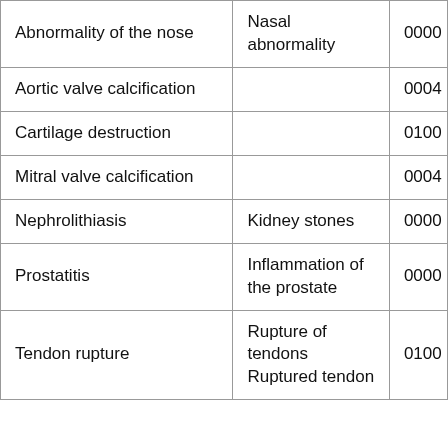| Term | Synonym/Description | Code |
| --- | --- | --- |
| Abnormality of the nose | Nasal abnormality | 0000… |
| Aortic valve calcification |  | 0004… |
| Cartilage destruction |  | 0100… |
| Mitral valve calcification |  | 0004… |
| Nephrolithiasis | Kidney stones | 0000… |
| Prostatitis | Inflammation of the prostate | 0000… |
| Tendon rupture | Rupture of tendons
Ruptured tendon | 0100… |